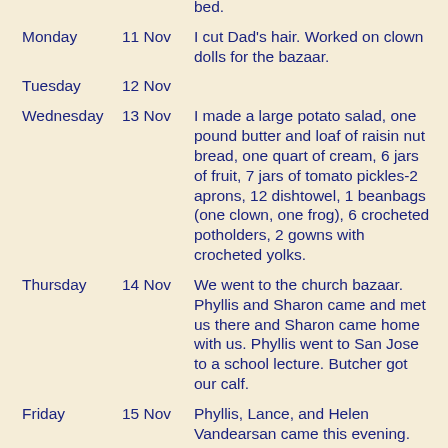| Day | Date | Entry |
| --- | --- | --- |
|  |  | bed. |
| Monday | 11 Nov | I cut Dad's hair. Worked on clown dolls for the bazaar. |
| Tuesday | 12 Nov |  |
| Wednesday | 13 Nov | I made a large potato salad, one pound butter and loaf of raisin nut bread, one quart of cream, 6 jars of fruit, 7 jars of tomato pickles-2 aprons, 12 dishtowel, 1 beanbags (one clown, one frog), 6 crocheted potholders, 2 gowns with crocheted yolks. |
| Thursday | 14 Nov | We went to the church bazaar. Phyllis and Sharon came and met us there and Sharon came home with us. Phyllis went to San Jose to a school lecture. Butcher got our calf. |
| Friday | 15 Nov | Phyllis, Lance, and Helen Vandearsan came this evening. The butcher killed our calf, it dressed 390 lbs with skin on. |